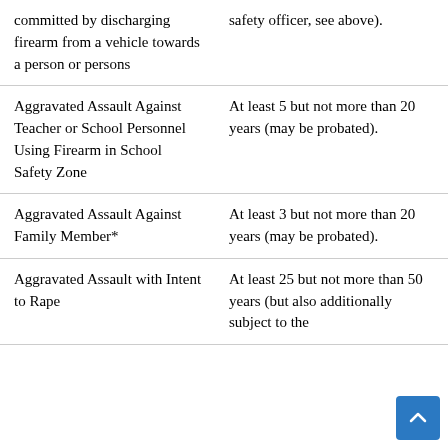| Offense | Penalty |
| --- | --- |
| committed by discharging firearm from a vehicle towards a person or persons | safety officer, see above). |
| Aggravated Assault Against Teacher or School Personnel Using Firearm in School Safety Zone | At least 5 but not more than 20 years (may be probated). |
| Aggravated Assault Against Family Member* | At least 3 but not more than 20 years (may be probated). |
| Aggravated Assault with Intent to Rape | At least 25 but not more than 50 years (but also additionally subject to the |